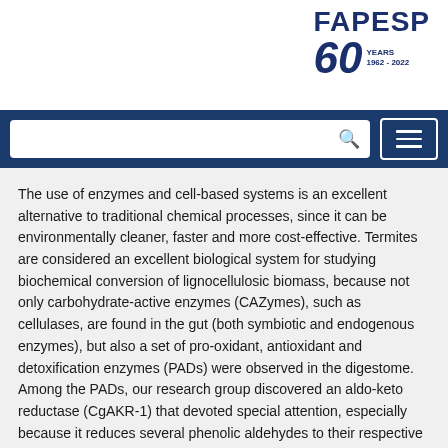[Figure (logo): FAPESP 60 Years 1962-2022 logo in dark blue]
[Figure (screenshot): Navigation bar with search box and hamburger menu icon on dark blue background]
The use of enzymes and cell-based systems is an excellent alternative to traditional chemical processes, since it can be environmentally cleaner, faster and more cost-effective. Termites are considered an excellent biological system for studying biochemical conversion of lignocellulosic biomass, because not only carbohydrate-active enzymes (CAZymes), such as cellulases, are found in the gut (both symbiotic and endogenous enzymes), but also a set of pro-oxidant, antioxidant and detoxification enzymes (PADs) were observed in the digestome. Among the PADs, our research group discovered an aldo-keto reductase (CgAKR-1) that devoted special attention, especially because it reduces several phenolic aldehydes to their respective alcohols. In addition, our collaborators, professor Neil Dixon and Nick Turner (University of Manchester) have been studying a carboxylic acid reductase (CAR) from Mycobacterium marinum, that showed reducing activity against aromatic acids found in biomass. In this sense, this BEPE project is devoted to combine efforts and develop a synthetic